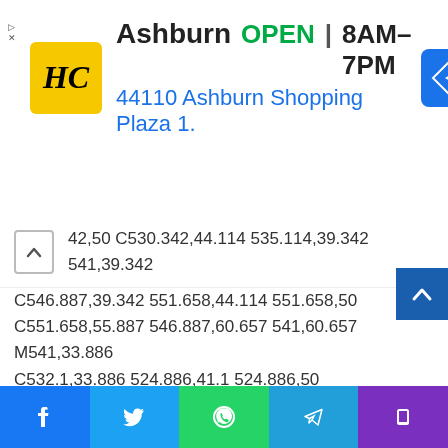[Figure (screenshot): Advertisement banner showing HC logo, Ashburn location, OPEN 8AM-7PM, address 44110 Ashburn Shopping Plaza 1., and navigation arrow icon]
42,50 C530.342,44.114 535.114,39.342 541,39.342 C546.887,39.342 551.658,44.114 551.658,50 C551.658,55.887 546.887,60.657 541,60.657 M541,33.886 C532.1,33.886 524.886,41.1 524.886,50 C524.886,58.899 532.1,66.113 541,66.113 C549.9,66.113 557.115,58.899 557.115,50 C557.115,41.1 549.9,33.886 541,33.886 M565.378,62.101 C565.244,65.022 564.756,66.606 564.346,67.663 C563.803,69.06 563.154,70.057 562.106,71.106 C561.058,72.155 560.06,72.803 558.662,73.347 C557.607,73.757 556.021,74.244 553.102,74.378 C549.944,74.521 548.997,74.552 541,74.552 C533.003,74.552 532.056,74.521 528.898,74.378
[Figure (screenshot): Social sharing bar with Facebook, Twitter, WhatsApp, Telegram, and phone icons]